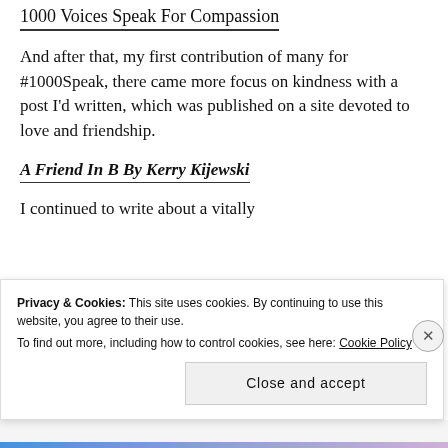1000 Voices Speak For Compassion
And after that, my first contribution of many for #1000Speak, there came more focus on kindness with a post I'd written, which was published on a site devoted to love and friendship.
A Friend In B By Kerry Kijewski
I continued to write about a vitally
Privacy & Cookies: This site uses cookies. By continuing to use this website, you agree to their use.
To find out more, including how to control cookies, see here: Cookie Policy
Close and accept